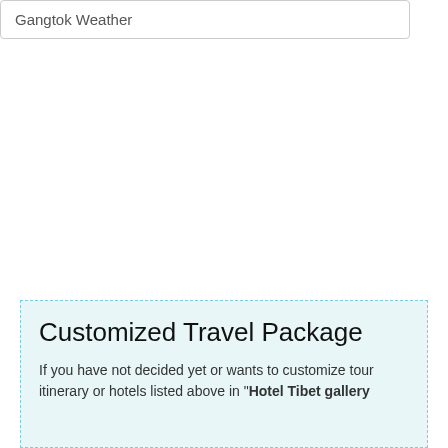Gangtok Weather
Customized Travel Package
If you have not decided yet or wants to customize tour itinerary or hotels listed above in "Hotel Tibet gallery